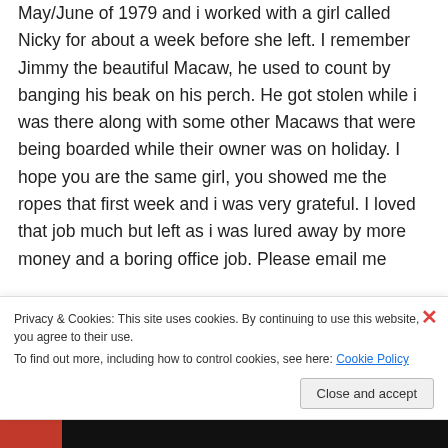May/June of 1979 and i worked with a girl called Nicky for about a week before she left. I remember Jimmy the beautiful Macaw, he used to count by banging his beak on his perch. He got stolen while i was there along with some other Macaws that were being boarded while their owner was on holiday. I hope you are the same girl, you showed me the ropes that first week and i was very grateful. I loved that job much but left as i was lured away by more money and a boring office job. Please email me
Privacy & Cookies: This site uses cookies. By continuing to use this website, you agree to their use. To find out more, including how to control cookies, see here: Cookie Policy
Close and accept